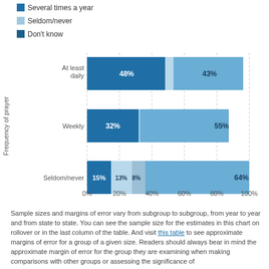[Figure (stacked-bar-chart): Frequency of prayer]
Sample sizes and margins of error vary from subgroup to subgroup, from year to year and from state to state. You can see the sample size for the estimates in this chart on rollover or in the last column of the table. And visit this table to see approximate margins of error for a group of a given size. Readers should always bear in mind the approximate margin of error for the group they are examining when making comparisons with other groups or assessing the significance of